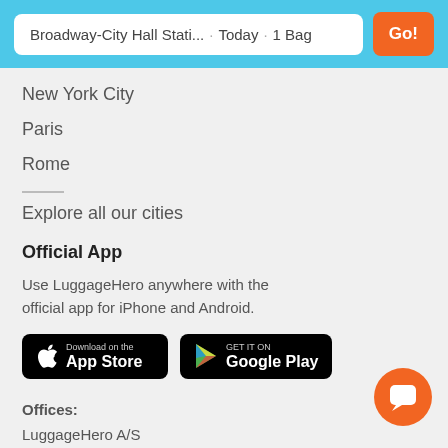Broadway-City Hall Stati... · Today · 1 Bag  Go!
New York City
Paris
Rome
Explore all our cities
Official App
Use LuggageHero anywhere with the official app for iPhone and Android.
[Figure (screenshot): Download on the App Store button (black rounded rectangle)]
[Figure (screenshot): Get it on Google Play button (black rounded rectangle)]
Offices:
LuggageHero A/S
VAT-no.: DK37611328